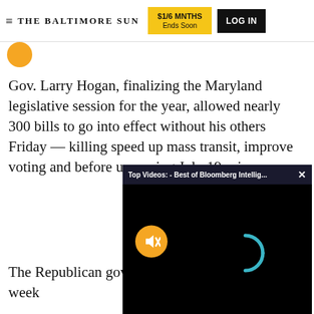≡ THE BALTIMORE SUN   $1/6 MNTHS Ends Soon   LOG IN
[Figure (logo): Baltimore Sun yellow circular icon]
Gov. Larry Hogan, finalizing the Maryland legislative session for the year, allowed nearly 300 bills to go into effect without hi... others Friday — killi... speed up mass transi... improve voting and b... upcoming July 19 pr...
[Figure (screenshot): Video overlay popup: 'Top Videos: - Best of Bloomberg Intellig...' with close X button, mute icon (orange circle with mute symbol), and loading spinner on black background]
The Republican governor faced a deadline this week
ADVERTISEMENT